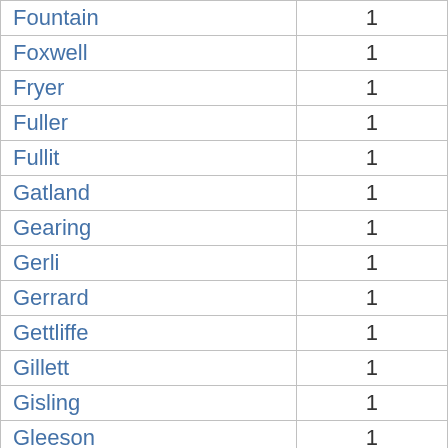| Fountain | 1 |
| Foxwell | 1 |
| Fryer | 1 |
| Fuller | 1 |
| Fullit | 1 |
| Gatland | 1 |
| Gearing | 1 |
| Gerli | 1 |
| Gerrard | 1 |
| Gettliffe | 1 |
| Gillett | 1 |
| Gisling | 1 |
| Gleeson | 1 |